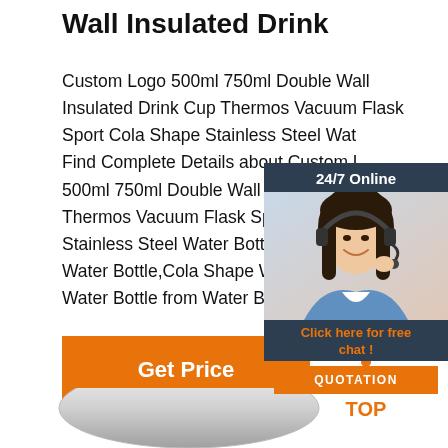Wall Insulated Drink
Custom Logo 500ml 750ml Double Wall Insulated Drink Cup Thermos Vacuum Flask Sport Cola Shape Stainless Steel Wat... Find Complete Details about Custom L... 500ml 750ml Double Wall Insulated D... Thermos Vacuum Flask Sport Cola Sh... Stainless Steel Water Bottle,Stainless... Water Bottle,Cola Shape Water Bottle... Water Bottle from Water Bottles Supp...
[Figure (photo): Chat widget showing a woman with headset, 24/7 Online header, Click here for free chat text, and QUOTATION button]
[Figure (infographic): Get Price orange button]
[Figure (other): TOP icon with dot triangle above text]
[Figure (photo): Bottom partial view of a stainless steel water bottle]